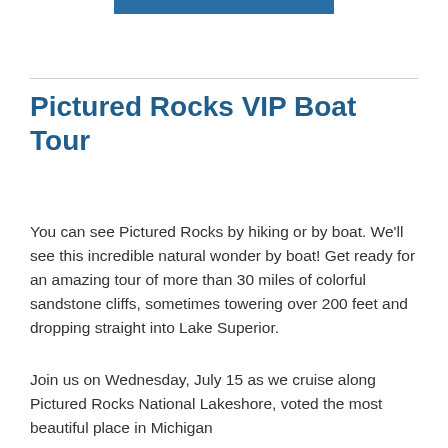Pictured Rocks VIP Boat Tour
You can see Pictured Rocks by hiking or by boat. We’ll see this incredible natural wonder by boat! Get ready for an amazing tour of more than 30 miles of colorful sandstone cliffs, sometimes towering over 200 feet and dropping straight into Lake Superior.
Join us on Wednesday, July 15 as we cruise along Pictured Rocks National Lakeshore, voted the most beautiful place in Michigan